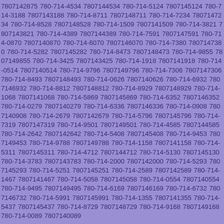7807142875 780-714-4534 7807144534 780-714-5124 7807145124 780-714-3188 7807143188 780-714-8711 7807148711 780-714-7234 7807147234 780-714-8528 7807148528 780-714-1509 7807141509 780-714-3821 7807143821 780-714-4389 7807144389 780-714-7591 7807147591 780-714-0870 7807140870 780-714-6070 7807146070 780-714-7380 7807147380 780-714-5282 7807145282 780-714-8473 7807148473 780-714-9855 7807149855 780-714-3425 7807143425 780-714-1918 7807141918 780-714-0514 7807140514 780-714-9796 7807149796 780-714-7306 7807147306 780-714-8493 7807148493 780-714-0626 7807140626 780-714-6932 7807146932 780-714-8812 7807148812 780-714-8929 7807148929 780-714-1068 7807141068 780-714-5869 7807145869 780-714-6352 7807146352 780-714-0279 7807140279 780-714-6336 7807146336 780-714-0908 7807140908 780-714-2679 7807142679 780-714-5796 7807145796 780-714-7319 7807147319 780-714-9501 7807149501 780-714-4585 7807144585 780-714-2642 7807142642 780-714-5408 7807145408 780-714-9453 7807149453 780-714-9788 7807149788 780-714-1158 7807141158 780-714-5311 7807145311 780-714-4712 7807144712 780-714-5130 7807145130 780-714-3783 7807143783 780-714-2000 7807142000 780-714-5293 7807145293 780-714-5251 7807145251 780-714-2589 7807142589 780-714-1467 7807141467 780-714-5058 7807145058 780-714-0554 7807140554 780-714-9495 7807149495 780-714-6169 7807146169 780-714-6732 7807146732 780-714-5991 7807145991 780-714-1355 7807141355 780-714-5437 7807145437 780-714-8729 7807148729 780-714-9168 7807149168 780-714-0089 7807140089